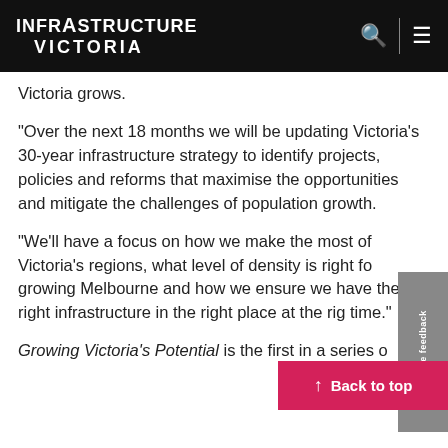Infrastructure Victoria
Victoria grows.
“Over the next 18 months we will be updating Victoria's 30-year infrastructure strategy to identify projects, policies and reforms that maximise the opportunities and mitigate the challenges of population growth.
“We’ll have a focus on how we make the most of Victoria’s regions, what level of density is right for growing Melbourne and how we ensure we have the right infrastructure in the right place at the right time.”
Growing Victoria’s Potential is the first in a series of